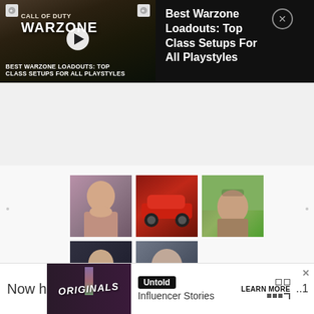[Figure (screenshot): Video ad thumbnail for 'Best Warzone Loadouts: Top Class Setups For All Playstyles' showing Call of Duty Warzone game screenshot with play button overlay]
Best Warzone Loadouts: Top Class Setups For All Playstyles
[Figure (screenshot): Grid of 5 social media/influencer portrait and car thumbnails with small profile photos]
LEARN MORE
[Figure (screenshot): Bottom ad banner with Originals logo, Untold Influencer Stories, Learn More button, and page number 1]